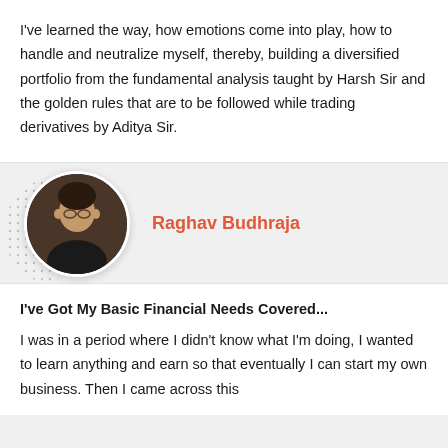I've learned the way, how emotions come into play, how to handle and neutralize myself, thereby, building a diversified portfolio from the fundamental analysis taught by Harsh Sir and the golden rules that are to be followed while trading derivatives by Aditya Sir.
Raghav Budhraja
[Figure (photo): Circular profile photo of Raghav Budhraja, a young man wearing a black shirt, with a dotted grey background element behind the photo]
I've Got My Basic Financial Needs Covered...
I was in a period where I didn't know what I'm doing, I wanted to learn anything and earn so that eventually I can start my own business. Then I came across this